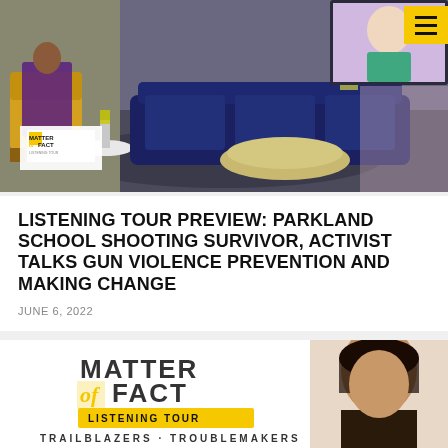[Figure (photo): TV show set with two women in a living room style interview setting; a video call is visible on a monitor in the background. Matter of Fact Listening Tour logo overlaid at bottom left.]
LISTENING TOUR PREVIEW: PARKLAND SCHOOL SHOOTING SURVIVOR, ACTIVIST TALKS GUN VIOLENCE PREVENTION AND MAKING CHANGE
JUNE 6, 2022
[Figure (logo): Matter of Fact Listening Tour logo with a woman's portrait photo on the right side]